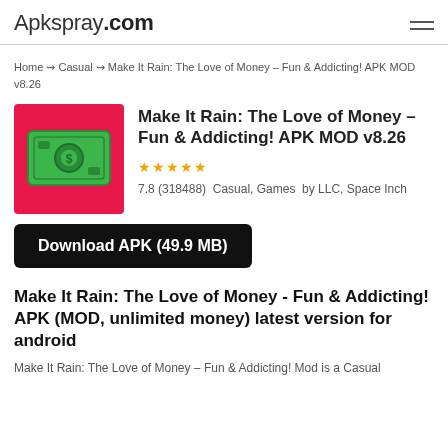Apkspray.com
Home ⇢ Casual ⇢ Make It Rain: The Love of Money – Fun & Addicting! APK MOD v8.26
Make It Rain: The Love of Money – Fun & Addicting! APK MOD v8.26
★★★★★7.8 (318488)  Casual, Games  by LLC, Space Inch
Download APK (49.9 MB)
Make It Rain: The Love of Money - Fun & Addicting! APK (MOD, unlimited money) latest version for android
Make It Rain: The Love of Money – Fun & Addicting! Mod is a Casual